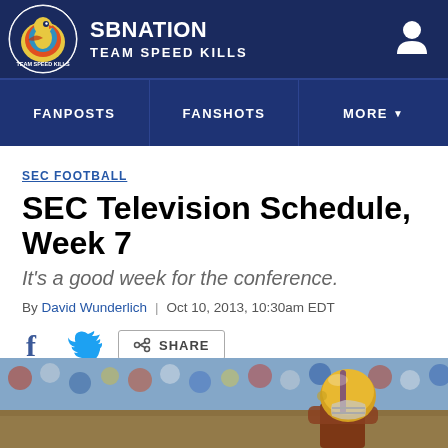SB NATION — TEAM SPEED KILLS
SEC FOOTBALL
SEC Television Schedule, Week 7
It's a good week for the conference.
By David Wunderlich | Oct 10, 2013, 10:30am EDT
[Figure (screenshot): Social share icons: Facebook, Twitter, and Share button]
[Figure (photo): Football player wearing LSU yellow/gold helmet, crowd in background]